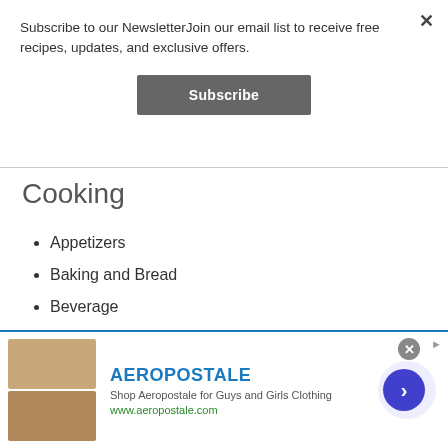Subscribe to our NewsletterJoin our email list to receive free recipes, updates, and exclusive offers.
Subscribe
Cooking
Appetizers
Baking and Bread
Beverage
Desserts
Main Dishes
AEROPOSTALE
Shop Aeropostale for Guys and Girls Clothing
www.aeropostale.com